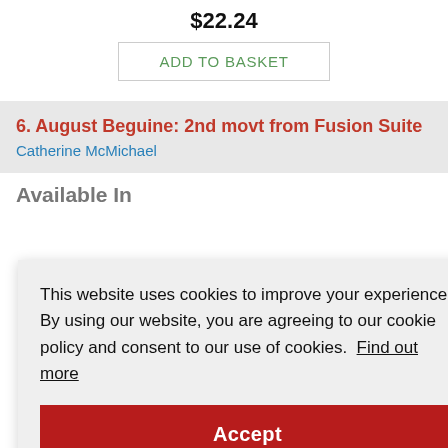$22.24
ADD TO BASKET
6. August Beguine: 2nd movt from Fusion Suite
Catherine McMichael
Available In
This website uses cookies to improve your experience. By using our website, you are agreeing to our cookie policy and consent to our use of cookies. Find out more
Accept